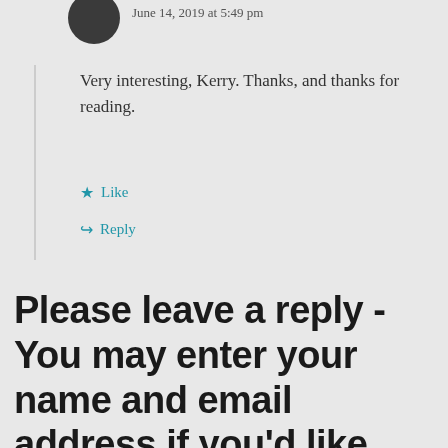June 14, 2019 at 5:49 pm
Very interesting, Kerry. Thanks, and thanks for reading.
Like
Reply
Please leave a reply - You may enter your name and email address if you'd like, but all fields are optional when leaving a comment